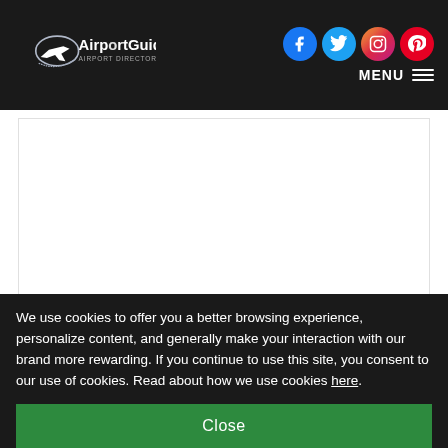AirportGuide — header with logo, social icons (Facebook, Twitter, Instagram, Pinterest), and MENU
[Figure (other): White rectangular content area placeholder]
We use cookies to offer you a better browsing experience, personalize content, and generally make your interaction with our brand more rewarding. If you continue to use this site, you consent to our use of cookies. Read about how we use cookies here.
Close